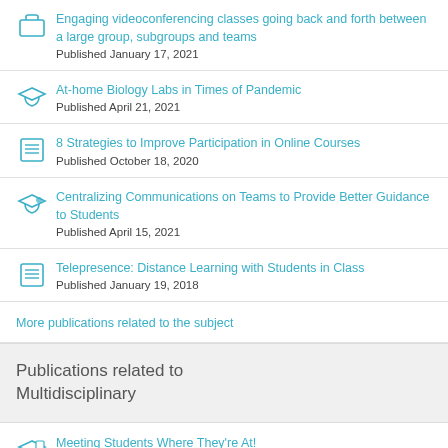Engaging videoconferencing classes going back and forth between a large group, subgroups and teams
Published January 17, 2021
At-home Biology Labs in Times of Pandemic
Published April 21, 2021
8 Strategies to Improve Participation in Online Courses
Published October 18, 2020
Centralizing Communications on Teams to Provide Better Guidance to Students
Published April 15, 2021
Telepresence: Distance Learning with Students in Class
Published January 19, 2018
More publications related to the subject
Publications related to Multidisciplinary
Meeting Students Where They're At!
Published August 24, 2014